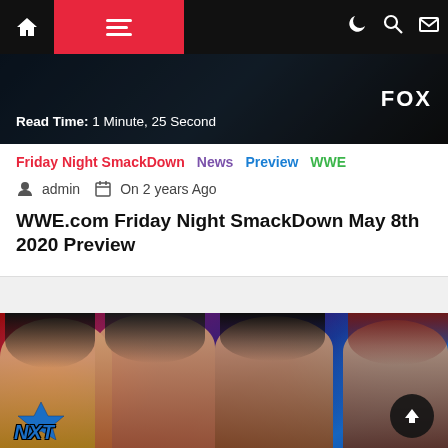Navigation bar with home, menu, dark mode, search, mail icons
[Figure (screenshot): Dark hero image strip showing Read Time: 1 Minute, 25 Second and FOX logo]
Friday Night SmackDown  News  Preview  WWE
admin  On 2 years Ago
WWE.com Friday Night SmackDown May 8th 2020 Preview
[Figure (photo): Four women wrestlers posed in front of NXT logo with red and blue background]